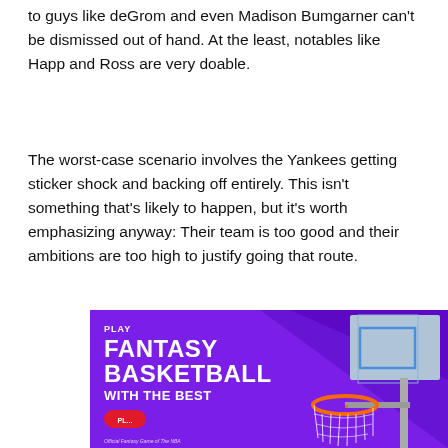to guys like deGrom and even Madison Bumgarner can't be dismissed out of hand. At the least, notables like Happ and Ross are very doable.
The worst-case scenario involves the Yankees getting sticker shock and backing off entirely. This isn't something that's likely to happen, but it's worth emphasizing anyway: Their team is too good and their ambitions are too high to justify going that route.
[Figure (illustration): Advertisement banner for NBA Fantasy Basketball. Purple background with basketball hoop image on the right. Text reads 'PLAY FANTASY BASKETBALL WITH THE BEST'. Red 'PLAY' button at bottom left. Official Fantasy Game of the NBA text.]